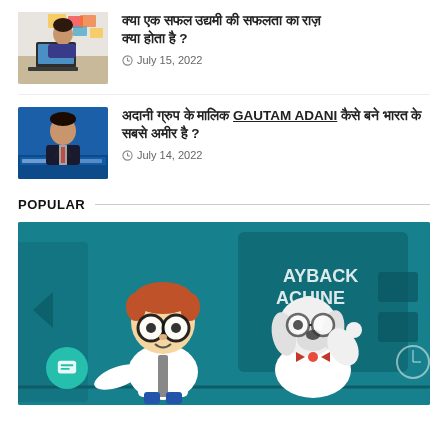[Figure (photo): Woman at a desk with a laptop, colorful sticky notes on wall behind]
क्या एक सफल उद्यमी की सफलता का राज़ क्या होता है ?
July 15, 2022
[Figure (photo): Man in suit with ADANI PORTS LIMITED banner behind him]
अदानी ग्रुप के मालिक GAUTAM ADANI कैसे बने भारत के सबसे अमीर ?
July 14, 2022
POPULAR
[Figure (illustration): Cartoon illustration of a boy with glasses and a dog in front of a 'WAYBACK MACHINE' on a teal background]